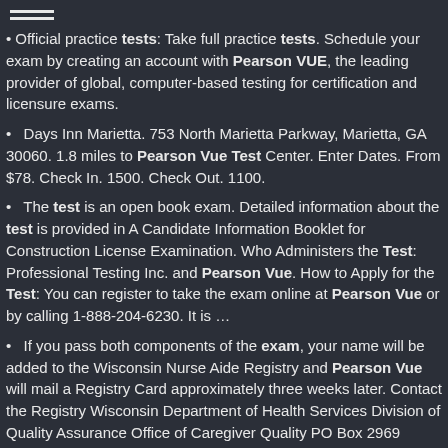Official practice tests: Take full practice tests. Schedule your exam by creating an account with Pearson VUE, the leading provider of global, computer-based testing for certification and licensure exams.
Days Inn Marietta. 753 North Marietta Parkway, Marietta, GA 30060. 1.8 miles to Pearson Vue Test Center. Enter Dates. From $78. Check In. 1500. Check Out. 1100.
The test is an open book exam. Detailed information about the test is provided in A Candidate Information Booklet for Construction License Examination. Who Administers the Test: Professional Testing Inc. and Pearson Vue. How to Apply for the Test: You can register to take the exam online at Pearson Vue or by calling 1-888-204-6230. It is ...
If you pass both components of the exam, your name will be added to the Wisconsin Nurse Aide Registry and Pearson Vue will mail a Registry Card approximately three weeks later. Contact the Registry Wisconsin Department of Health Services Division of Quality Assurance Office of Caregiver Quality PO Box 2969 Madison, WI 53701-2969 608-261-8319.